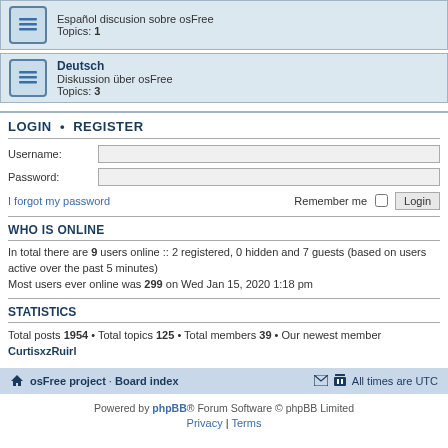Español discusion sobre osFree — Topics: 1
Deutsch — Diskussion über osFree — Topics: 3
LOGIN • REGISTER
Username:
Password:
I forgot my password — Remember me — Login
WHO IS ONLINE
In total there are 9 users online :: 2 registered, 0 hidden and 7 guests (based on users active over the past 5 minutes)
Most users ever online was 299 on Wed Jan 15, 2020 1:18 pm
STATISTICS
Total posts 1954 • Total topics 125 • Total members 39 • Our newest member CurtisxzRuirl
osFree project · Board index — All times are UTC
Powered by phpBB® Forum Software © phpBB Limited
Privacy | Terms